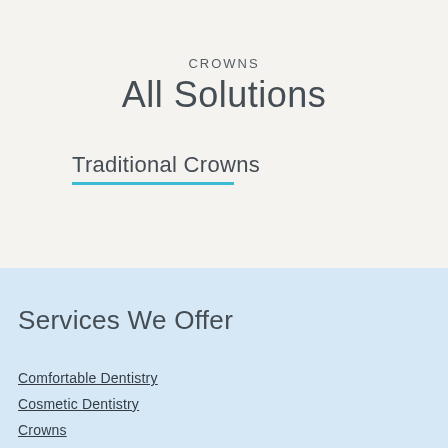CROWNS
All Solutions
Traditional Crowns
Services We Offer
Comfortable Dentistry
Cosmetic Dentistry
Crowns